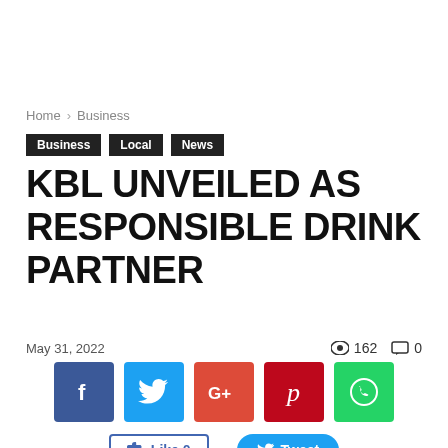Home › Business
Business  Local  News
KBL UNVEILED AS RESPONSIBLE DRINK PARTNER
May 31, 2022  👁 162  💬 0
[Figure (infographic): Social media share icons: Facebook (blue), Twitter (cyan), Google+ (red-orange), Pinterest (dark red), WhatsApp (green); followed by Like 0 and Tweet buttons; below is a photo strip of an outdoor event with KBL banners.]